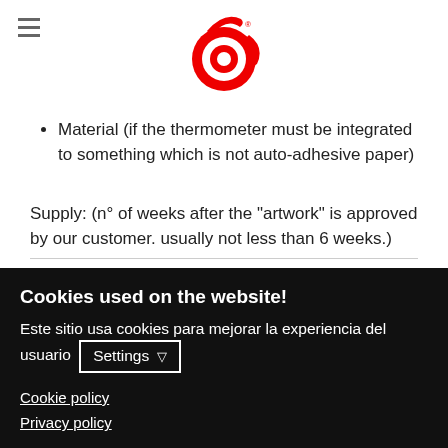[Figure (logo): Red circular company logo with stylized design]
Material (if the thermometer must be integrated to something which is not auto-adhesive paper)
Supply: (n° of weeks after the "artwork" is approved by our customer. usually not less than 6 weeks.)
Cookies used on the website!
Este sitio usa cookies para mejorar la experiencia del usuario Settings
Cookie policy
Privacy policy
Decline   Allow cookies